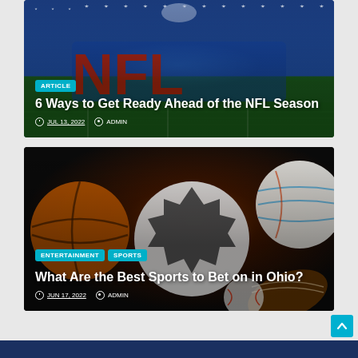[Figure (photo): NFL logo on football field with blue background and stars, card overlay showing article badge, title, date and author]
ARTICLE
6 Ways to Get Ready Ahead of the NFL Season
JUL 13, 2022  ADMIN
[Figure (photo): Various sports balls including soccer ball, basketball, volleyball and football on dark background]
ENTERTAINMENT  SPORTS
What Are the Best Sports to Bet on in Ohio?
JUN 17, 2022  ADMIN